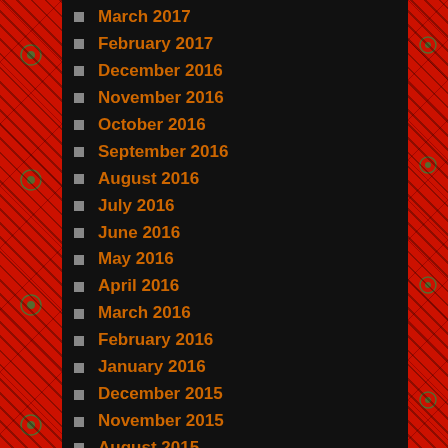March 2017
February 2017
December 2016
November 2016
October 2016
September 2016
August 2016
July 2016
June 2016
May 2016
April 2016
March 2016
February 2016
January 2016
December 2015
November 2015
August 2015
July 2015
June 2015
May 2015
April 2015